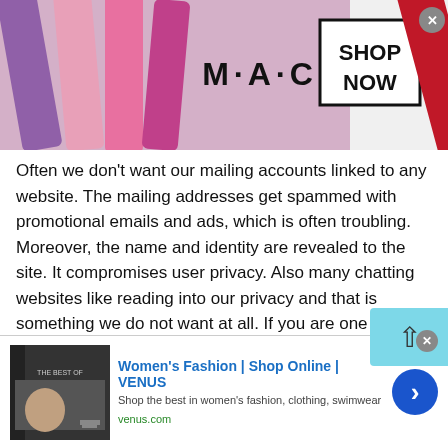[Figure (screenshot): MAC cosmetics advertisement banner with lipsticks and SHOP NOW box]
Often we don't want our mailing accounts linked to any website. The mailing addresses get spammed with promotional emails and ads, which is often troubling. Moreover, the name and identity are revealed to the site. It compromises user privacy. Also many chatting websites like reading into our privacy and that is something we do not want at all. If you are one such person who is too concerned about privacy then this wonderful platform is definitely for you.
To Montenegrin Chat for Free using talkwithstranger, you
[Figure (screenshot): Women's Fashion | Shop Online | VENUS advertisement banner]